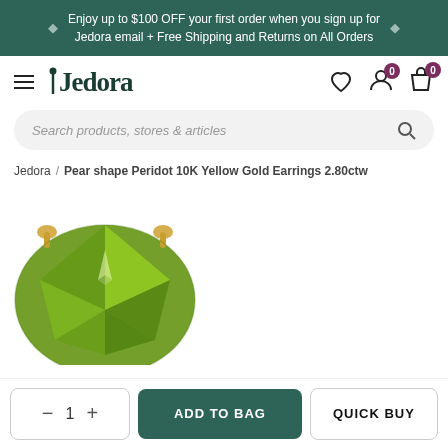Enjoy up to $100 OFF your first order when you sign up for Jedora email + Free Shipping and Returns on All Orders
[Figure (screenshot): Jedora navigation bar with hamburger menu, Jedora logo, heart/wishlist icon, account icon with badge 0, shopping bag icon with badge 0]
Search products, stores & articles
Jedora / Pear shape Peridot 10K Yellow Gold Earrings 2.80ctw
[Figure (photo): Pear shape peridot gemstone earring in yellow gold setting, green stone, cropped view from above]
ADD TO BAG
QUICK BUY